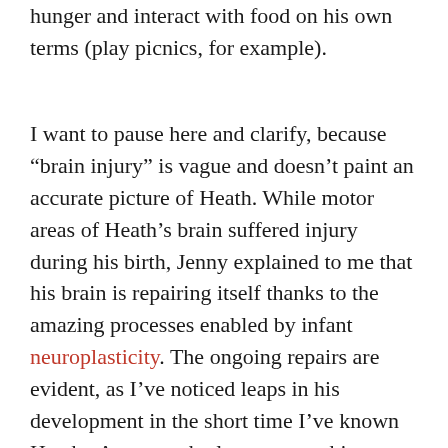hunger and interact with food on his own terms (play picnics, for example).
I want to pause here and clarify, because “brain injury” is vague and doesn’t paint an accurate picture of Heath. While motor areas of Heath’s brain suffered injury during his birth, Jenny explained to me that his brain is repairing itself thanks to the amazing processes enabled by infant neuroplasticity. The ongoing repairs are evident, as I’ve noticed leaps in his development in the short time I’ve known Heath.  Anyone who lays eyes on him can see that he is thriving in every way. He  is one of the happiest, sweetest, most engaged and engaging babies I’ve ever met. He’s got a sense of humor. He communicates and makes friends easily.